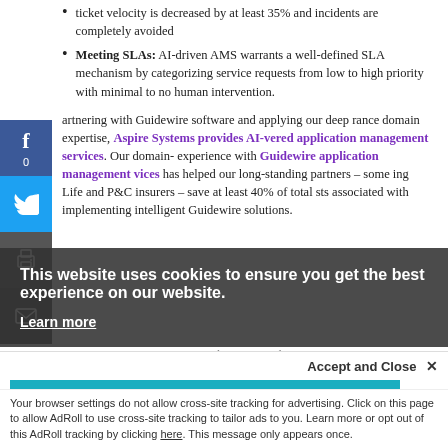ticket velocity is decreased by at least 35% and incidents are completely avoided
Meeting SLAs: AI-driven AMS warrants a well-defined SLA mechanism by categorizing service requests from low to high priority with minimal to no human intervention.
Partnering with Guidewire software and applying our deep insurance domain expertise, Aspire Systems provides AI-powered application management services. Our domain-experience with Guidewire application management services has helped our long-standing partners – some being Life and P&C insurers – save at least 40% of total costs associated with implementing intelligent Guidewire solutions.
Gain 40% cost savings in your insurance business with Cognitive Managed Services – Download Whitepaper
This website uses cookies to ensure you get the best experience on our website.
Learn more
Accept and Close ✕
Your browser settings do not allow cross-site tracking for advertising. Click on this page to allow AdRoll to use cross-site tracking to tailor ads to you. Learn more or opt out of this AdRoll tracking by clicking here. This message only appears once.